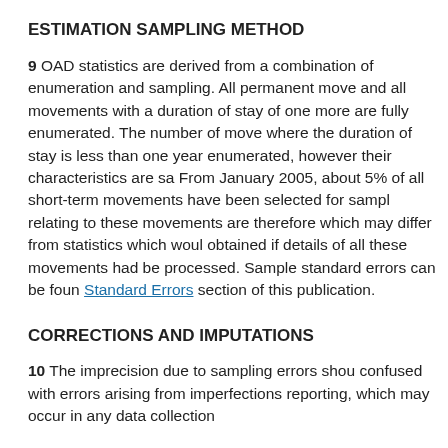ESTIMATION SAMPLING METHOD
9 OAD statistics are derived from a combination of enumeration and sampling. All permanent movements and all movements with a duration of stay of one year or more are fully enumerated. The number of movements where the duration of stay is less than one year are also enumerated, however their characteristics are sampled. From January 2005, about 5% of all short-term movements have been selected for sampling. Statistics relating to these movements are therefore sample-based, which may differ from statistics which would have been obtained if details of all these movements had been processed. Sample standard errors can be found in the Standard Errors section of this publication.
CORRECTIONS AND IMPUTATIONS
10 The imprecision due to sampling errors should not be confused with errors arising from imperfections in reporting, which may occur in any data collection system. These are called Errors...